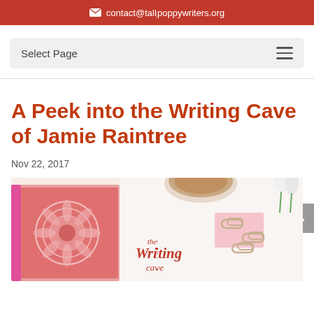contact@tallpoppywriters.org
Select Page
A Peek into the Writing Cave of Jamie Raintree
Nov 22, 2017
[Figure (photo): Flat lay photo of a decorative pink patterned notebook, a cup of coffee, paper clips, and white tulips, with 'the Writing cave' text overlay in pink/red.]